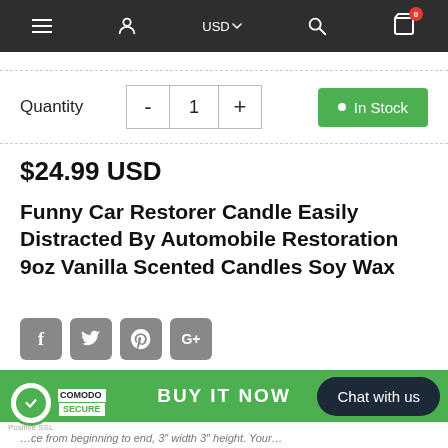Navigation bar with hamburger menu, user icon, USD currency selector, search icon, cart (0 items)
Quantity  -  1  +  In Stock
$24.99 USD
Funny Car Restorer Candle Easily Distracted By Automobile Restoration 9oz Vanilla Scented Candles Soy Wax
Social share icons: Facebook, Twitter, Pinterest, Google+
Unique Automobile Restoration Candle Gift. C…
BUY IT NOW
[Figure (logo): Comodo Secure / Positive SSL badge with green circle seal]
Chat with us
…ce from beginning to end, 3″ width 3″ height. Your…